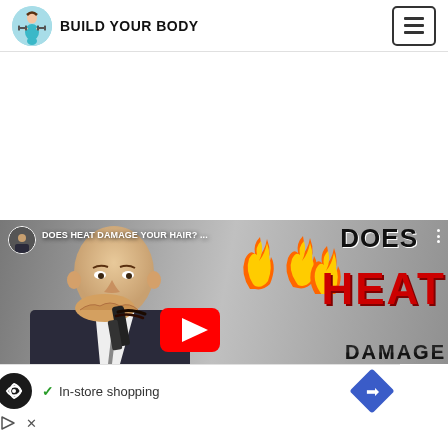BUILD YOUR BODY
[Figure (screenshot): YouTube video thumbnail for 'DOES HEAT DAMAGE YOUR HAIR?' showing a bald man using a hair straightener, with flame emojis and bold red text reading HEAT and DOES, partially showing DAMAGE at the bottom]
[Figure (infographic): Advertisement banner with dark circular logo featuring infinity-like symbol, checkmark with 'In-store shopping' text, and a blue diamond navigation icon. Below are small play and close icons.]